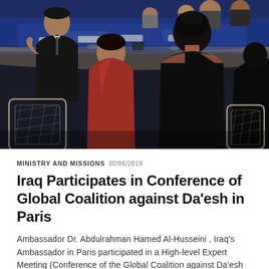[Figure (photo): Conference room scene showing delegates seated around a meeting table with a blue tablecloth; people visible include a woman in red dress and a woman in black dress from behind, with chairs and other attendees visible in the background.]
MINISTRY AND MISSIONS  30/06/2019
Iraq Participates in Conference of Global Coalition against Da'esh in Paris
Ambassador Dr. Abdulrahman Hamed Al-Husseini , Iraq's Ambassador in Paris participated in a High-level Expert Meeting (Conference of the Global Coalition against Da'esh held at the French Ministry of Europe and Foreign Affairs for…